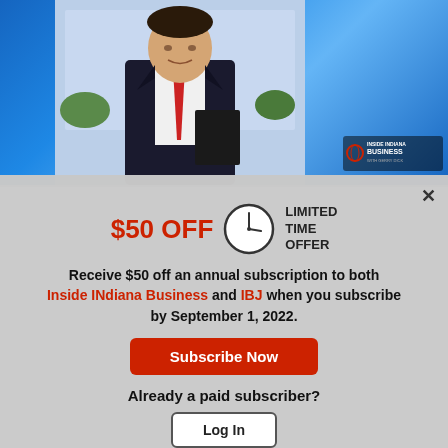[Figure (photo): Man in dark suit with red tie holding a binder, shown from waist up against a blue background. Inside Indiana Business logo visible in bottom right corner.]
$50 OFF LIMITED TIME OFFER
Receive $50 off an annual subscription to both Inside INdiana Business and IBJ when you subscribe by September 1, 2022.
Subscribe Now
Already a paid subscriber?
Log In